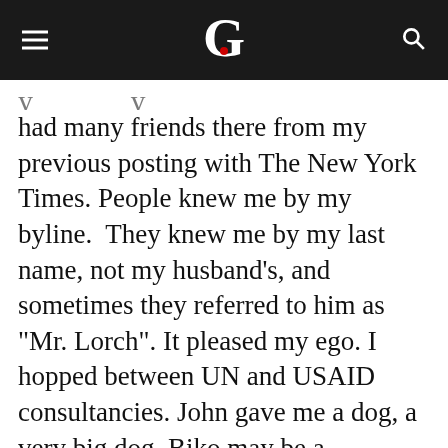G
had many friends there from my previous posting with The New York Times. People knew me by my byline.  They knew me by my last name, not my husband’s, and sometimes they referred to him as “Mr. Lorch”. It pleased my ego. I hopped between UN and USAID consultancies. John gave me a dog, a very big dog. Biko may be a bureaucratic nightmare to move between countries, and John subsequently learned that he is highly allergic to him, but Biko brightens the darkest days. He has been and continues to be my great emotional leveler.